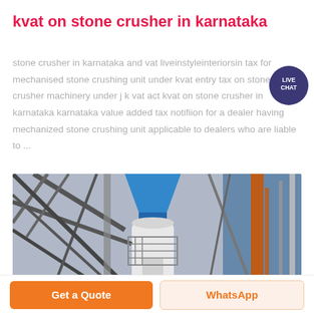kvat on stone crusher in karnataka
stone crusher in karnataka and vat liveinstyleinteriorsin tax for mechanised stone crushing unit under kvat entry tax on stone crusher machinery under j k vat act kvat on stone crusher in karnataka karnataka value added tax notifiion for a dealer having mechanized stone crushing unit applicable to dealers who are liable to ...
[Figure (photo): Industrial stone crusher machinery with metal framework, blue hopper, white cylindrical tank, and orange scaffolding in background]
Get a Quote
WhatsApp